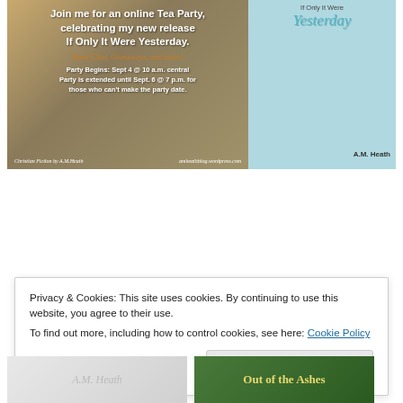[Figure (illustration): Tea Party online event banner for book 'If Only It Were Yesterday' by A.M. Heath. Left panel shows text over tea party background. Right panel shows book cover with young woman in yellow jacket.]
Privacy & Cookies: This site uses cookies. By continuing to use this website, you agree to their use.
To find out more, including how to control cookies, see here: Cookie Policy
[Figure (illustration): Bottom strip showing two book cover thumbnails partially visible.]